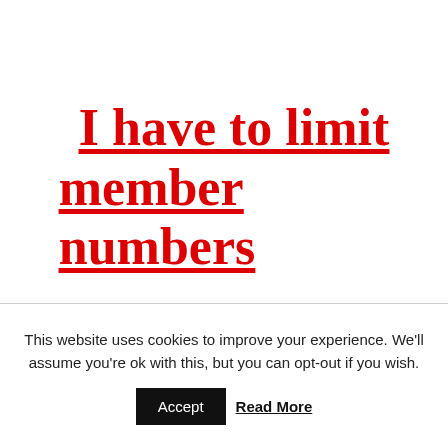I have to limit member numbers
This website uses cookies to improve your experience. We'll assume you're ok with this, but you can opt-out if you wish.
Accept  Read More